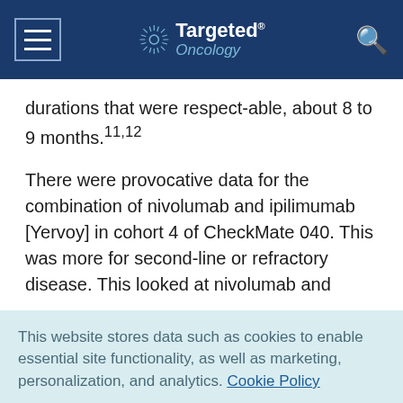Targeted Oncology
durations that were respect-able, about 8 to 9 months.11,12
There were provocative data for the combination of nivolumab and ipilimumab [Yervoy] in cohort 4 of CheckMate 040. This was more for second-line or refractory disease. This looked at nivolumab and
This website stores data such as cookies to enable essential site functionality, as well as marketing, personalization, and analytics. Cookie Policy
Accept
Deny